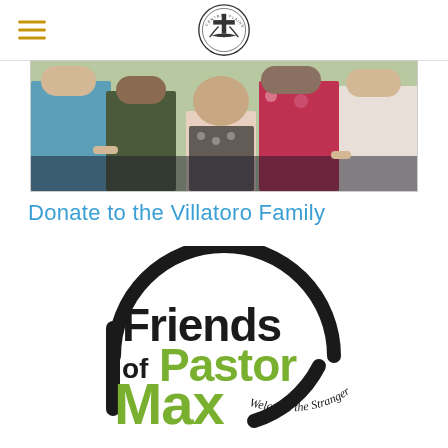Central Plains (church logo)
[Figure (photo): Group of people including a young girl in a patterned dress standing together indoors]
Donate to the Villatoro Family
[Figure (logo): Friends of Pastor Max - Welcome the Stranger logo with black handwritten-style text and green accent text]